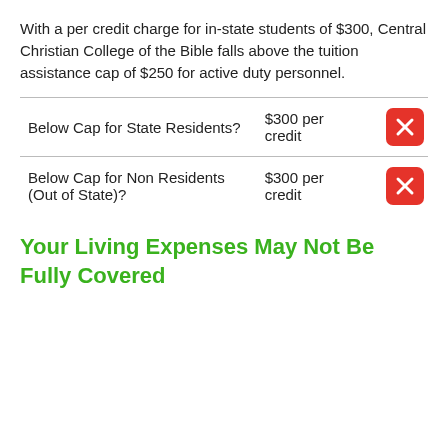With a per credit charge for in-state students of $300, Central Christian College of the Bible falls above the tuition assistance cap of $250 for active duty personnel.
|  |  |  |
| --- | --- | --- |
| Below Cap for State Residents? | $300 per credit | ✗ |
| Below Cap for Non Residents (Out of State)? | $300 per credit | ✗ |
Your Living Expenses May Not Be Fully Covered